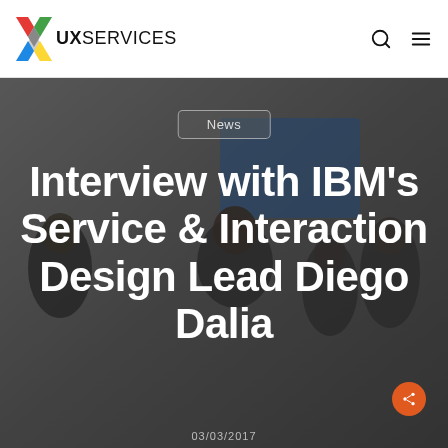UX SERVICES
News
Interview with IBM's Service & Interaction Design Lead Diego Dalia
03/03/2017